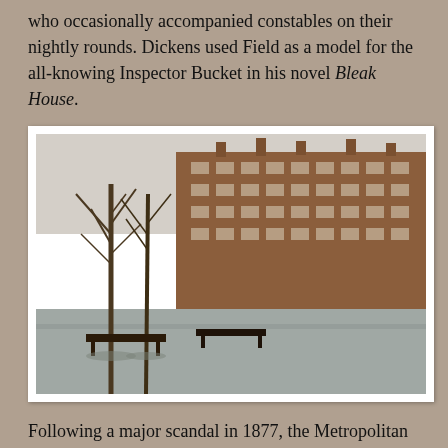who occasionally accompanied constables on their nightly rounds. Dickens used Field as a model for the all-knowing Inspector Bucket in his novel Bleak House.
[Figure (photo): Street-level photograph of a London square with bare trees, park benches in the foreground, and a long Victorian red-brick building facade in the background.]
Following a major scandal in 1877, the Metropolitan Police was reorganized, and the Criminal Investigation Department (CID), a respected unit of plainclothes police detectives, was born. In 1890, the police force moved to its new building on the Victoria Embankment, retaining its name, but as New Scotland Yard.
During the second half of the 19th century, one of Scotland Yard's most durable detectives, Frederick Porter Wensley (aka “The Weasel”), began his 40-year career and investigated cases including the murder of 32-year-old